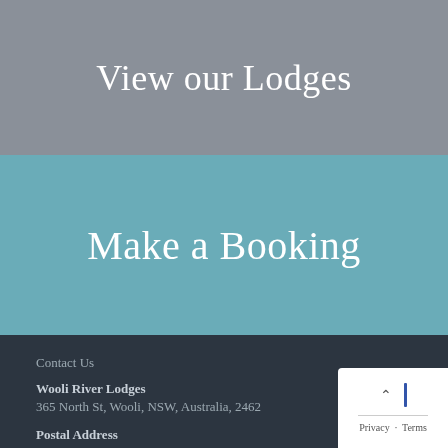View our Lodges
Make a Booking
Contact Us
Wooli River Lodges
365 North St, Wooli, NSW, Australia, 2462
Postal Address